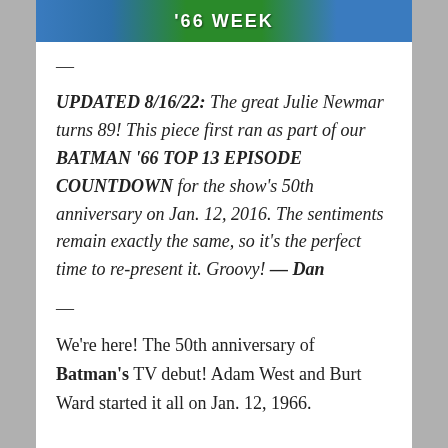[Figure (illustration): Batman '66 Week banner with cartoon characters and green background]
—
UPDATED 8/16/22: The great Julie Newmar turns 89! This piece first ran as part of our BATMAN '66 TOP 13 EPISODE COUNTDOWN for the show's 50th anniversary on Jan. 12, 2016. The sentiments remain exactly the same, so it's the perfect time to re-present it. Groovy! — Dan
—
We're here! The 50th anniversary of Batman's TV debut! Adam West and Burt Ward started it all on Jan. 12, 1966.